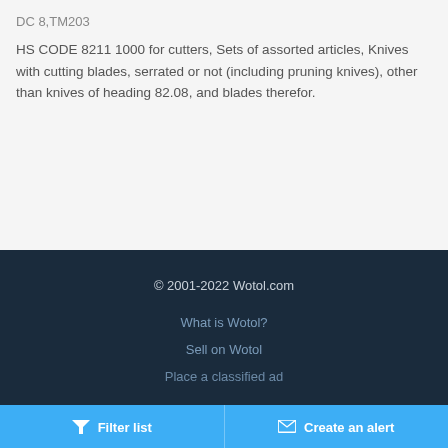DC 8,TM203
HS CODE 8211 1000 for cutters, Sets of assorted articles, Knives with cutting blades, serrated or not (including pruning knives), other than knives of heading 82.08, and blades therefor.
© 2001-2022 Wotol.com
What is Wotol?
Sell on Wotol
Place a classified ad
Filter list
Create an alert